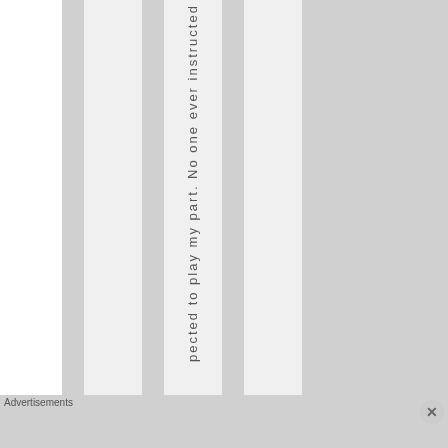pected to play my part. No one ever instructed
Advertisements
[Figure (photo): Victoria's Secret advertisement banner with model, logo, 'SHOP THE COLLECTION' text, and 'SHOP NOW' button]